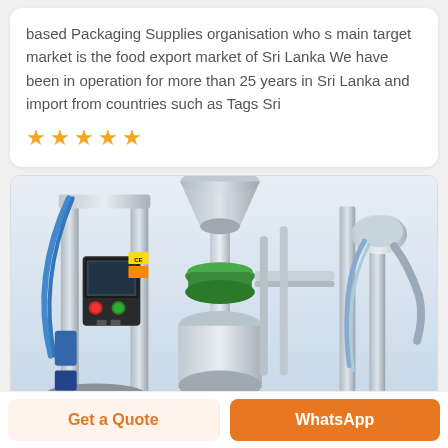based Packaging Supplies organisation who s main target market is the food export market of Sri Lanka We have been in operation for more than 25 years in Sri Lanka and import from countries such as Tags Sri
[Figure (illustration): Five orange star rating icons]
[Figure (photo): Industrial packaging machine with stainless steel components, control panel with red and green buttons, tubes and mechanical parts]
Get a Quote
WhatsApp